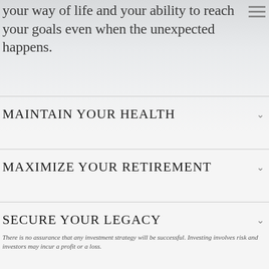your way of life and your ability to reach your goals even when the unexpected happens.
MAINTAIN YOUR HEALTH
MAXIMIZE YOUR RETIREMENT
SECURE YOUR LEGACY
There is no assurance that any investment strategy will be successful. Investing involves risk and investors may incur a profit or a loss.